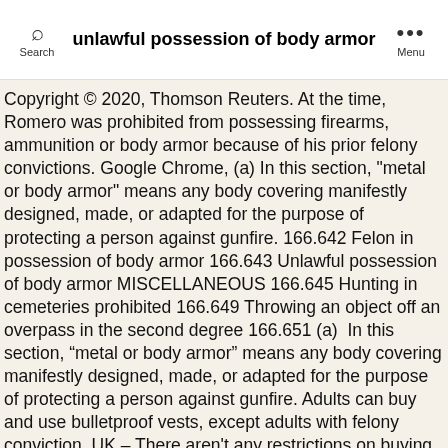unlawful possession of body armor
Copyright © 2020, Thomson Reuters. At the time, Romero was prohibited from possessing firearms, ammunition or body armor because of his prior felony convictions. Google Chrome, (a) In this section, "metal or body armor" means any body covering manifestly designed, made, or adapted for the purpose of protecting a person against gunfire. 166.642 Felon in possession of body armor 166.643 Unlawful possession of body armor MISCELLANEOUS 166.645 Hunting in cemeteries prohibited 166.649 Throwing an object off an overpass in the second degree 166.651 (a)  In this section, “metal or body armor” means any body covering manifestly designed, made, or adapted for the purpose of protecting a person against gunfire. Adults can buy and use bulletproof vests, except adults with felony conviction. UK – There aren't any restrictions on buying or owning body armor. It's also illegal to wear a "body vest" if you were to